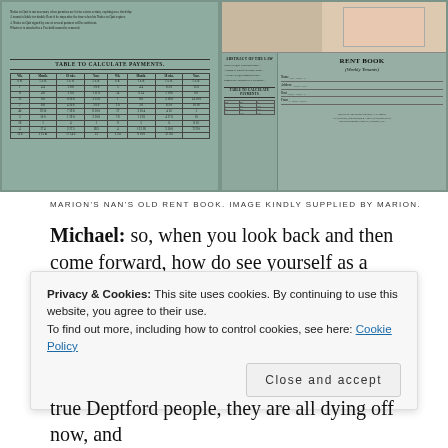[Figure (photo): Two photographs of an old rent book. Left: interior showing 'TABLE TO CALCULATE PAYMENTS' with a detailed table of weekly, monthly, 18-week, and yearly payment amounts. Right: top portion shows a pink/red corner and a teal card; bottom shows the front cover reading 'RENT BOOK (Weekly Tenants)' alongside an interior page with small text and a payments table.]
MARION'S NAN'S OLD RENT BOOK. IMAGE KINDLY SUPPLIED BY MARION.
Michael: so, when you look back and then come forward, how do see yourself as a Deptford person,
Privacy & Cookies: This site uses cookies. By continuing to use this website, you agree to their use. To find out more, including how to control cookies, see here: Cookie Policy
true Deptford people, they are all dying off now, and